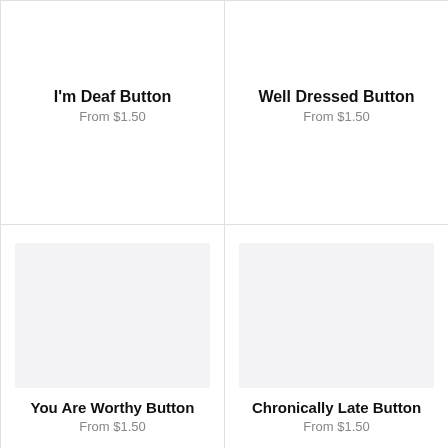I'm Deaf Button
From $1.50
Well Dressed Button
From $1.50
[Figure (illustration): Empty light gray product image placeholder for You Are Worthy Button]
You Are Worthy Button
From $1.50
[Figure (illustration): Empty light gray product image placeholder for Chronically Late Button]
Chronically Late Button
From $1.50